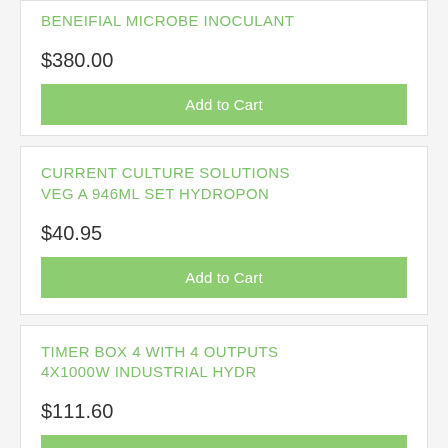BENEIFIAL MICROBE INOCULANT
$380.00
Add to Cart
CURRENT CULTURE SOLUTIONS VEG A 946ML SET HYDROPON
$40.95
Add to Cart
TIMER BOX 4 WITH 4 OUTPUTS 4X1000W INDUSTRIAL HYDR
$111.60
Backorder